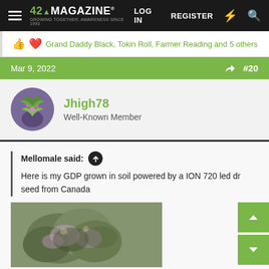420 MAGAZINE® | LOG IN | REGISTER
Grand Daddy Black, Tokin Roll, Farmer Reading and 5 others
Mar 9, 2022   #20
Jhigh78
Well-Known Member
Mellomale said:
Here is my GDP grown in soil powered by a ION 720 led dr seed from Canada
Click to expand...